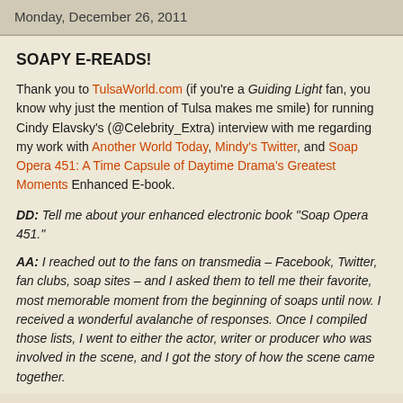Monday, December 26, 2011
SOAPY E-READS!
Thank you to TulsaWorld.com (if you're a Guiding Light fan, you know why just the mention of Tulsa makes me smile) for running Cindy Elavsky's (@Celebrity_Extra) interview with me regarding my work with Another World Today, Mindy's Twitter, and Soap Opera 451: A Time Capsule of Daytime Drama's Greatest Moments Enhanced E-book.
DD: Tell me about your enhanced electronic book "Soap Opera 451."
AA: I reached out to the fans on transmedia – Facebook, Twitter, fan clubs, soap sites – and I asked them to tell me their favorite, most memorable moment from the beginning of soaps until now. I received a wonderful avalanche of responses. Once I compiled those lists, I went to either the actor, writer or producer who was involved in the scene, and I got the story of how the scene came together.